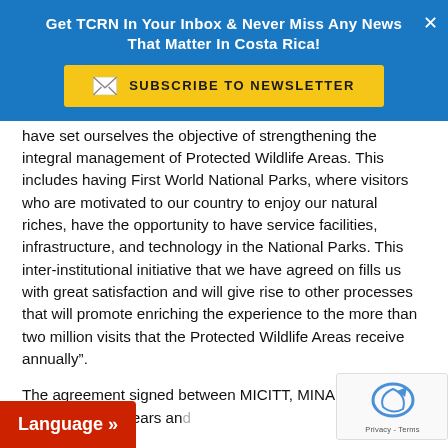Get TCRN In Your Inbox & Never Miss Any News That Matter In Costa Rica!
[Figure (infographic): Yellow subscribe to newsletter button with envelope icon on blue background]
have set ourselves the objective of strengthening the integral management of Protected Wildlife Areas. This includes having First World National Parks, where visitors who are motivated to our country to enjoy our natural riches, have the opportunity to have service facilities, infrastructure, and technology in the National Parks. This inter-institutional initiative that we have agreed on fills us with great satisfaction and will give rise to other processes that will promote enriching the experience to the more than two million visits that the Protected Wildlife Areas receive annually”.
The agreement signed between MICITT, MINAE, ...C will be valid for seven years and...
[Figure (other): Language button (red) and reCAPTCHA widget (bottom right)]